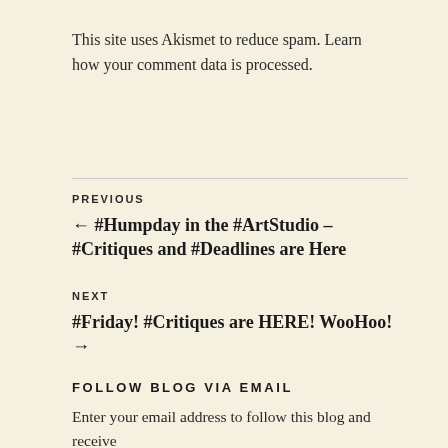This site uses Akismet to reduce spam. Learn how your comment data is processed.
PREVIOUS
← #Humpday in the #ArtStudio – #Critiques and #Deadlines are Here
NEXT
#Friday! #Critiques are HERE! WooHoo! →
FOLLOW BLOG VIA EMAIL
Enter your email address to follow this blog and receive